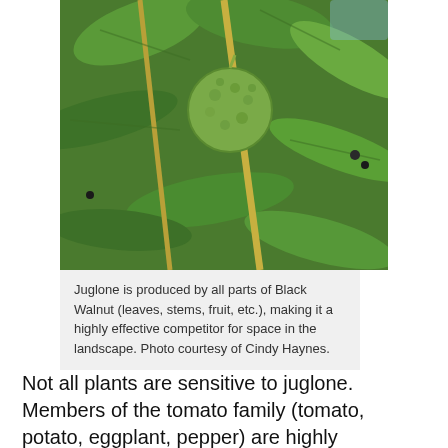[Figure (photo): Close-up photo of a Black Walnut fruit (green, round, bumpy) hanging among large green leaves on the tree. Photo shows detailed leaf venation and yellowish-green stems.]
Juglone is produced by all parts of Black Walnut (leaves, stems, fruit, etc.), making it a highly effective competitor for space in the landscape. Photo courtesy of Cindy Haynes.
Not all plants are sensitive to juglone. Members of the tomato family (tomato, potato, eggplant, pepper) are highly